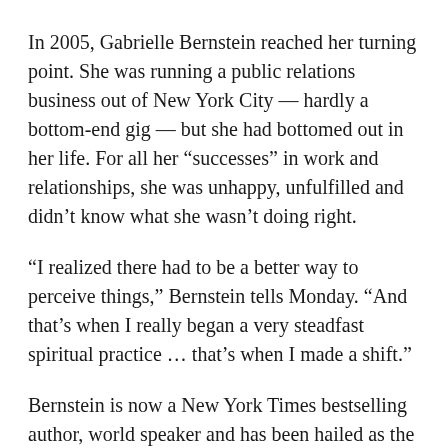In 2005, Gabrielle Bernstein reached her turning point. She was running a public relations business out of New York City — hardly a bottom-end gig — but she had bottomed out in her life. For all her “successes” in work and relationships, she was unhappy, unfulfilled and didn’t know what she wasn’t doing right.
“I realized there had to be a better way to perceive things,” Bernstein tells Monday. “And that’s when I really began a very steadfast spiritual practice … that’s when I made a shift.”
Bernstein is now a New York Times bestselling author, world speaker and has been hailed as the new spiritual role model for 30-somethings. She also believes in miracles.